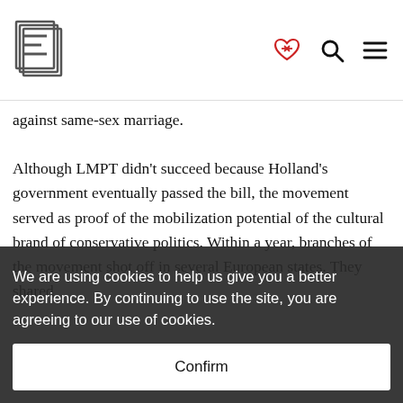[Logo: E icon] [heart-handshake icon] [search icon] [menu icon]
against same-sex marriage.

Although LMPT didn't succeed because Holland's government eventually passed the bill, the movement served as proof of the mobilization potential of the cultural brand of conservative politics. Within a year, branches of the movement shot off in several European states. They shared
mum and dad, equal and complementary', and
a covert culture war. As early as in 2013,
We are using cookies to help us give you a better experience. By continuing to use the site, you are agreeing to our use of cookies.
Confirm